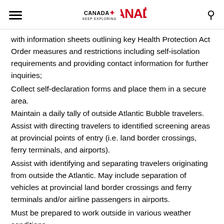Canada Keep Exploring | Canada logo | Search
with information sheets outlining key Health Protection Act Order measures and restrictions including self-isolation requirements and providing contact information for further inquiries;
Collect self-declaration forms and place them in a secure area.
Maintain a daily tally of outside Atlantic Bubble travelers.
Assist with directing travelers to identified screening areas at provincial points of entry (i.e. land border crossings, ferry terminals, and airports).
Assist with identifying and separating travelers originating from outside the Atlantic. May include separation of vehicles at provincial land border crossings and ferry terminals and/or airline passengers in airports.
Must be prepared to work outside in various weather conditions.
Qualifications and Experience
Warehouse Operative Full-time Job in Amazon
To be considered for the Border Liaison Officer opportunity, you must have experience working in a customer service or client service environment with a demonstrated ability to work under pressure. Attention to detail and accuracy is essential. Experience…